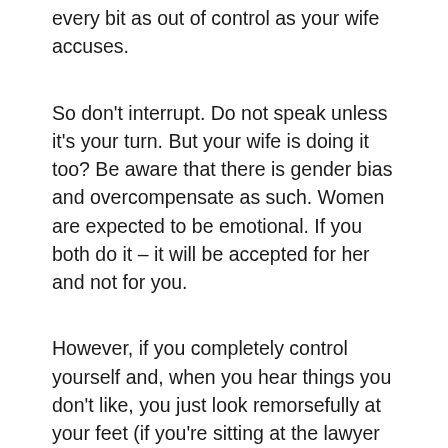Verbal interruptions all tell the judge that you are every bit as out of control as your wife accuses.
So don't interrupt. Do not speak unless it's your turn. But your wife is doing it too? Be aware that there is gender bias and overcompensate as such. Women are expected to be emotional. If you both do it – it will be accepted for her and not for you.
However, if you completely control yourself and, when you hear things you don't like, you just look remorsefully at your feet (if you're sitting at the lawyer table with your lawyer, make believe it is a glass table and look through it down at your feet),